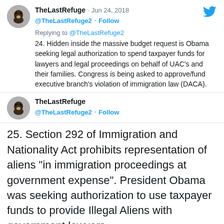[Figure (screenshot): Twitter screenshot showing two tweets from @TheLastRefuge2. First tweet (reply) dated Jun 24, 2018: '24. Hidden inside the massive budget request is Obama seeking legal authorization to spend taxpayer funds for lawyers and legal proceedings on behalf of UAC's and their families. Congress is being asked to approve/fund executive branch's violation of immigration law (DACA).' Second tweet dated Jun 24, 2018: '25. Section 292 of Immigration and Nationality Act prohibits representation of aliens "in immigration proceedings at government expense". President Obama was seeking authorization to use taxpayer funds to provide Illegal Aliens with government lawyers. cis.org/cadman/will-ta...' with timestamp 9:37 PM · Jun 24, 2018]